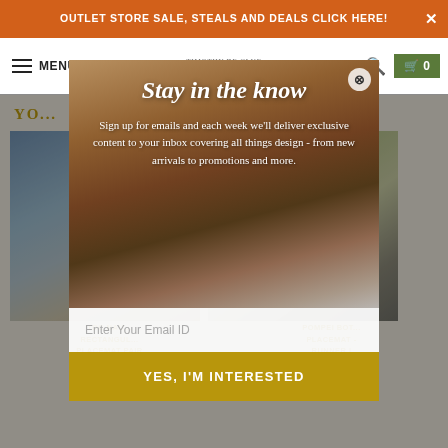OUTLET STORE SALE, STEALS AND DEALS CLICK HERE!
MENU | Timothy De Clue Collection | 0
Stay in the know
Sign up for emails and each week we'll deliver exclusive content to your inbox covering all things design - from new arrivals to promotions and more.
Enter Your Email ID
YES, I'M INTERESTED
TDC NAUTICAL RECTANGULAR PLACEMAT PAIR SET 2 | INSPIRED BY MOSAIC FROM POMPEII
POMPEI BOTANICAL PLACEMAT - RUNNER | INSPIRED BY POMPEII MOSAICS